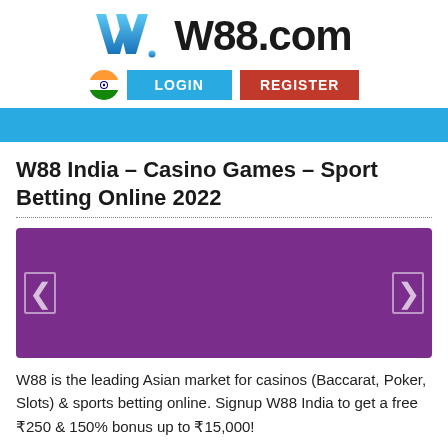[Figure (logo): W88.com logo with blue W icon and bold W88.com text]
[Figure (infographic): Navigation bar with Indian flag, LOGIN button (blue), REGISTER button (red)]
[Figure (other): Solid blue horizontal bar]
W88 India – Casino Games – Sport Betting Online 2022
[Figure (illustration): Purple banner/slider with left and right navigation arrows]
W88 is the leading Asian market for casinos (Baccarat, Poker, Slots) & sports betting online. Signup W88 India to get a free ₹250 & 150% bonus up to ₹15,000!